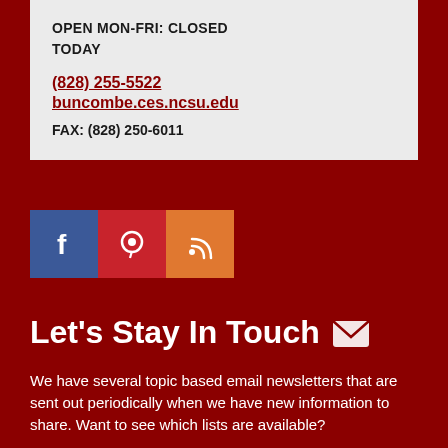OPEN MON-FRI: CLOSED
TODAY
(828) 255-5522
buncombe.ces.ncsu.edu
FAX: (828) 250-6011
[Figure (infographic): Social media icons: Facebook (blue), Pinterest (red), RSS feed (orange)]
Let's Stay In Touch
We have several topic based email newsletters that are sent out periodically when we have new information to share. Want to see which lists are available?